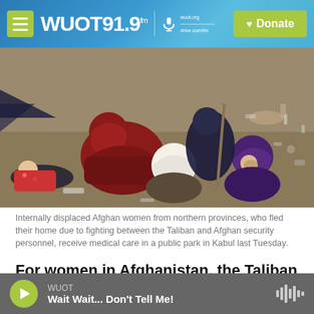WUOT 91.9 fm | Donate
[Figure (photo): Internally displaced Afghan women from northern provinces sitting in a public park in Kabul, receiving medical care. Women wearing headscarves in red, white, and purple.]
Internally displaced Afghan women from northern provinces, who fled their home due to fighting between the Taliban and Afghan security personnel, receive medical care in a public park in Kabul last Tuesday.
For women in Afghanistan, the Taliban takeover of the country puts their rights at stake, as well as
WUOT — Wait Wait... Don't Tell Me!